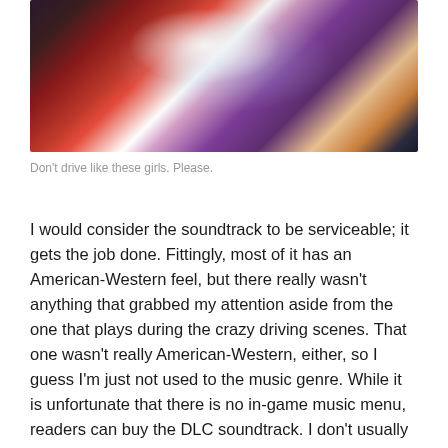[Figure (illustration): Anime-style illustration of multiple girls in a driving scene with lightning/electric effect between characters. Characters include one in a red shirt and one in a purple top with long hair.]
Don't drive like these girls. Please.
I would consider the soundtrack to be serviceable; it gets the job done. Fittingly, most of it has an American-Western feel, but there really wasn't anything that grabbed my attention aside from the one that plays during the crazy driving scenes. That one wasn't really American-Western, either, so I guess I'm just not used to the music genre. While it is unfortunate that there is no in-game music menu, readers can buy the DLC soundtrack. I don't usually spring for those, but the option's there.